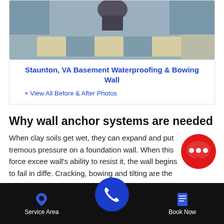[Figure (photo): Photograph of a basement floor with blue/grey tiles and white/cream tiles in a checkerboard pattern, viewed from above.]
Staunton, VA Basement Waterproofing & Bowing Wall
+ View All Before & After Photos
Why wall anchor systems are needed
When clay soils get wet, they can expand and put tremendous pressure on a foundation wall. When this force exceeds the wall's ability to resist it, the wall begins to fail in different ways. Cracking, bowing and tilting are the most common symptoms of
[Figure (screenshot): Red circular chat bubble button with three white dots (ellipsis).]
Service Area  [phone call button]  Book Now